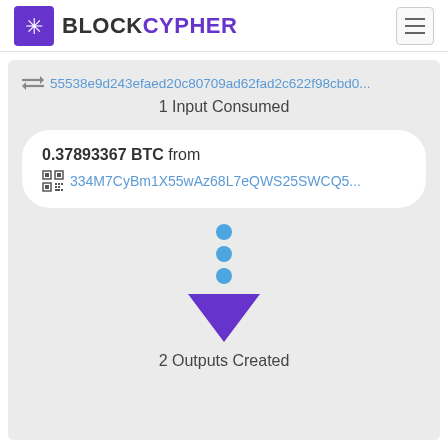BLOCKCYPHER
55538e9d243efaed20c80709ad62fad2c622f98cbd0...
1 Input Consumed
0.37893367 BTC from 334M7CyBm1X55wAz68L7eQWS25SWCQ5...
[Figure (infographic): Three blue dots followed by a purple downward-pointing triangle arrow indicating transaction flow]
2 Outputs Created